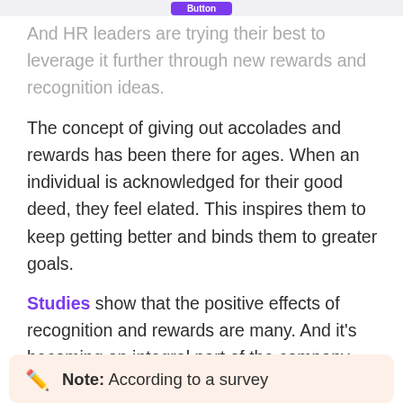And HR leaders are trying their best to leverage it further through new rewards and recognition ideas.
The concept of giving out accolades and rewards has been there for ages. When an individual is acknowledged for their good deed, they feel elated. This inspires them to keep getting better and binds them to greater goals.
Studies show that the positive effects of recognition and rewards are many. And it's becoming an integral part of the company culture of various organizations.
Note: According to a survey